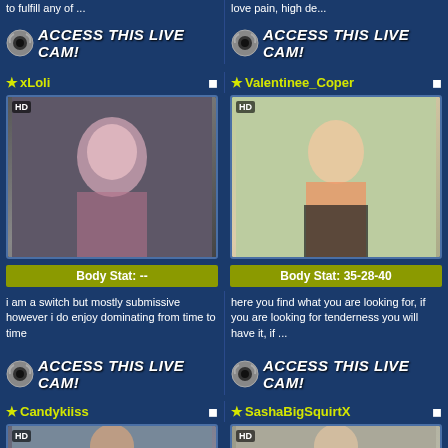to fulfill any of ...
love pain, high de...
ACCESS THIS LIVE CAM!
ACCESS THIS LIVE CAM!
★xLoli
[Figure (photo): Live cam thumbnail for xLoli with HD badge]
Body Stat: --
★Valentinee_Coper
[Figure (photo): Live cam thumbnail for Valentinee_Coper with HD badge]
Body Stat: 35-28-40
i am a switch but mostly submissive however i do enjoy dominating from time to time
here you find what you are looking for, if you are looking for tenderness you will have it, if ...
ACCESS THIS LIVE CAM!
ACCESS THIS LIVE CAM!
★Candykiiss
[Figure (photo): Live cam thumbnail for Candykiiss with HD badge]
★SashaBigSquirtX
[Figure (photo): Live cam thumbnail for SashaBigSquirtX with HD badge]